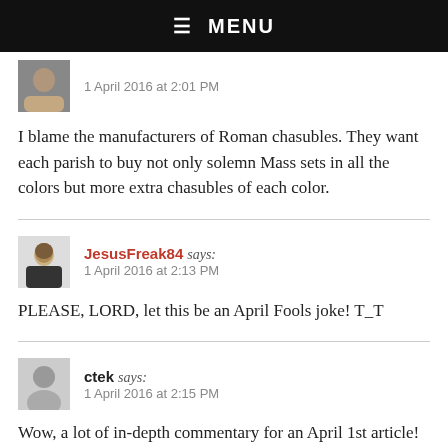☰ MENU
1 April 2016 at 2:01 PM
I blame the manufacturers of Roman chasubles. They want each parish to buy not only solemn Mass sets in all the colors but more extra chasubles of each color.
JesusFreak84 says:
1 April 2016 at 2:13 PM
PLEASE, LORD, let this be an April Fools joke! T_T
ctek says:
1 April 2016 at 2:15 PM
Wow, a lot of in-depth commentary for an April 1st article! :)